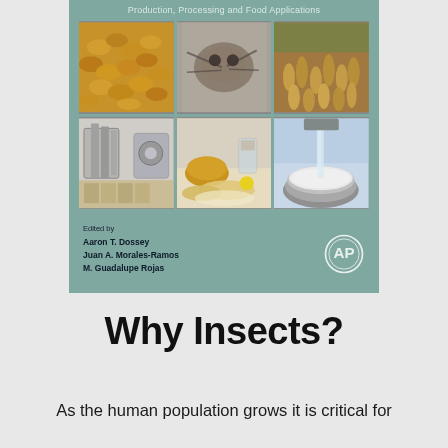[Figure (photo): Book cover for a text on insects for food production, processing and food applications. Cover shows a teal/sage green background with a grid of 6 photos: insects/larvae (top left), a close-up of an insect (top center), mealworms (top right), food processing equipment (bottom left), baked goods and food products (bottom center), and a mixing bowl with liquid (bottom right). Edited by Aaron T. Dossey, Juan A. Morales-Ramos, M. Guadalupe Rojas. Academic Press logo visible.]
Why Insects?
As the human population grows it is critical for